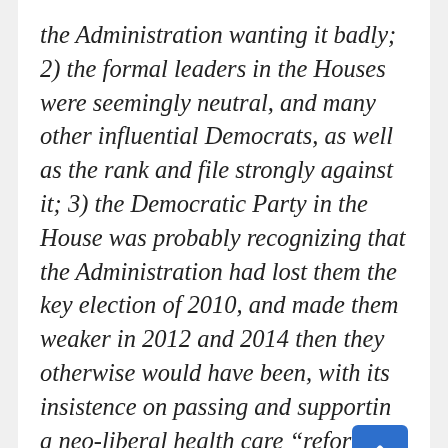the Administration wanting it badly; 2) the formal leaders in the Houses were seemingly neutral, and many other influential Democrats, as well as the rank and file strongly against it; 3) the Democratic Party in the House was probably recognizing that the Administration had lost them the key election of 2010, and made them weaker in 2012 and 2014 then they otherwise would have been, with its insistence on passing and supporting a neo-liberal health care “reform” bill,